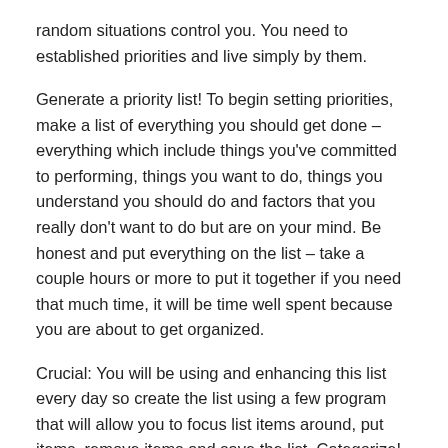random situations control you. You need to established priorities and live simply by them.
Generate a priority list! To begin setting priorities, make a list of everything you should get done – everything which include things you've committed to performing, things you want to do, things you understand you should do and factors that you really don't want to do but are on your mind. Be honest and put everything on the list – take a couple hours or more to put it together if you need that much time, it will be time well spent because you are about to get organized.
Crucial: You will be using and enhancing this list every day so create the list using a few program that will allow you to focus list items around, put items, remove items and save the list. Categorize! At this point carefully consider each item on the list and put each an individual into one of the following